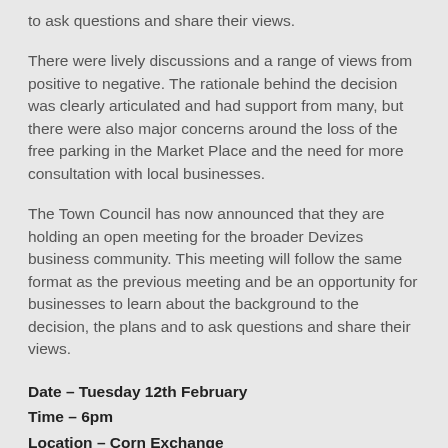to ask questions and share their views.
There were lively discussions and a range of views from positive to negative. The rationale behind the decision was clearly articulated and had support from many, but there were also major concerns around the loss of the free parking in the Market Place and the need for more consultation with local businesses.
The Town Council has now announced that they are holding an open meeting for the broader Devizes business community. This meeting will follow the same format as the previous meeting and be an opportunity for businesses to learn about the background to the decision, the plans and to ask questions and share their views.
Date – Tuesday 12th February
Time – 6pm
Location – Corn Exchange